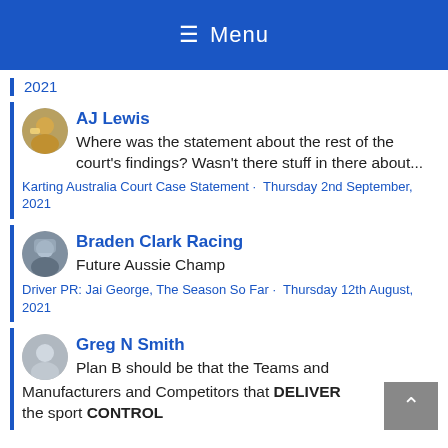≡ Menu
2021
AJ Lewis
Where was the statement about the rest of the court's findings? Wasn't there stuff in there about...
Karting Australia Court Case Statement · Thursday 2nd September, 2021
Braden Clark Racing
Future Aussie Champ
Driver PR: Jai George, The Season So Far · Thursday 12th August, 2021
Greg N Smith
Plan B should be that the Teams and Manufacturers and Competitors that DELIVER the sport CONTROL